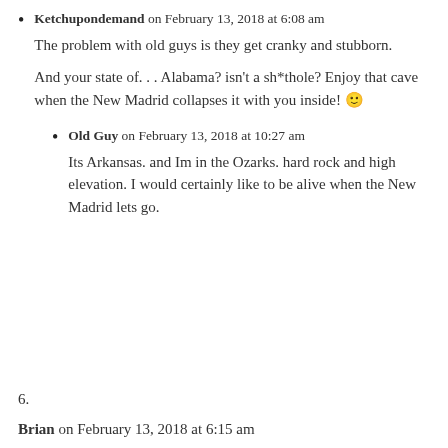Ketchupondemand on February 13, 2018 at 6:08 am

The problem with old guys is they get cranky and stubborn.

And your state of. . . Alabama? isn't a sh*thole? Enjoy that cave when the New Madrid collapses it with you inside! 🙂
Old Guy on February 13, 2018 at 10:27 am

Its Arkansas. and Im in the Ozarks. hard rock and high elevation. I would certainly like to be alive when the New Madrid lets go.
6.
Brian on February 13, 2018 at 6:15 am